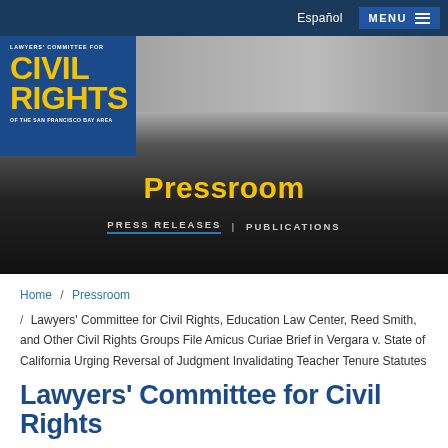Lawyers' Committee for Civil Rights of the San Francisco Bay Area — Pressroom
[Figure (logo): Lawyers' Committee for Civil Rights of the San Francisco Bay Area logo in yellow text on blue background]
Pressroom
PRESS RELEASES | PUBLICATIONS
Home / Pressroom
/ Lawyers' Committee for Civil Rights, Education Law Center, Reed Smith, and Other Civil Rights Groups File Amicus Curiae Brief in Vergara v. State of California Urging Reversal of Judgment Invalidating Teacher Tenure Statutes
Lawyers' Committee for Civil Rights